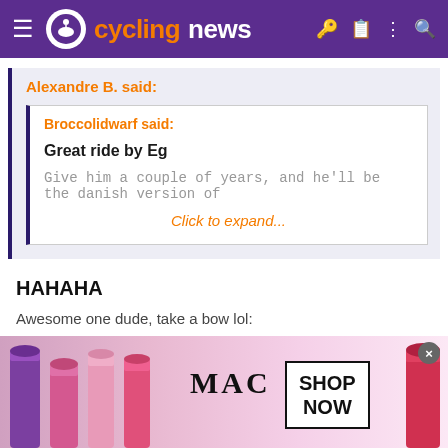cyclingnews
Alexandre B. said:
Broccolidwarf said:
Great ride by Eg
Give him a couple of years, and he'll be the danish version of
Click to expand...
HAHAHA
Awesome one dude, take a bow lol:
[Figure (photo): MAC Cosmetics advertisement banner showing lipsticks with SHOP NOW button]